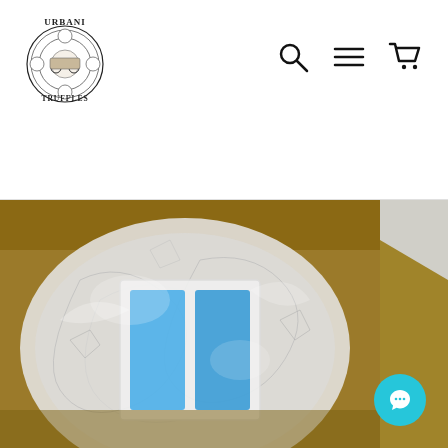[Figure (logo): Urbani Truffles circular logo with text URBANI above and TRUFFLES below, containing medallion imagery]
[Figure (other): Navigation icons: search (magnifying glass), menu (hamburger/three lines), and shopping cart]
[Figure (photo): Photo of a white insulated cooler box wrapped in clear plastic wrap with blue ice packs inside, placed in a brown cardboard shipping box]